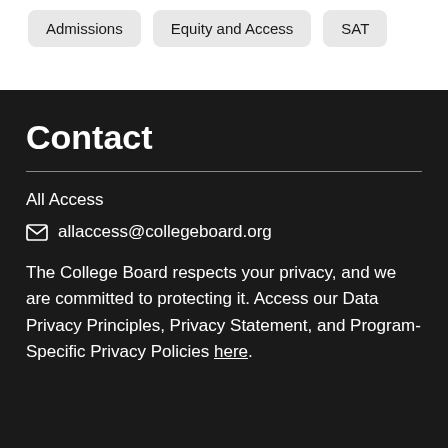Admissions
Equity and Access
SAT
Contact
All Access
allaccess@collegeboard.org
The College Board respects your privacy, and we are committed to protecting it. Access our Data Privacy Principles, Privacy Statement, and Program-Specific Privacy Policies here.